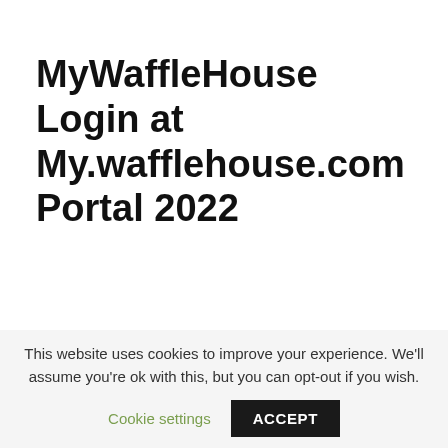MyWaffleHouse Login at My.wafflehouse.com Portal 2022
This website uses cookies to improve your experience. We'll assume you're ok with this, but you can opt-out if you wish.
Cookie settings
ACCEPT